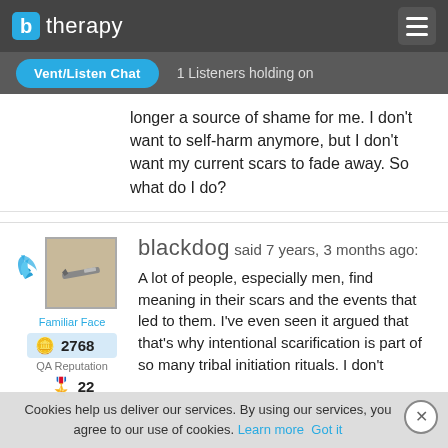b therapy
Vent/Listen Chat   1 Listeners holding on
longer a source of shame for me. I don't want to self-harm anymore, but I don't want my current scars to fade away. So what do I do?
blackdog said 7 years, 3 months ago:
A lot of people, especially men, find meaning in their scars and the events that led to them. I've even seen it argued that that's why intentional scarification is part of so many tribal initiation rituals. I don't
Cookies help us deliver our services. By using our services, you agree to our use of cookies. Learn more  Got it